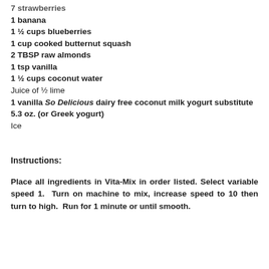7 strawberries
1 banana
1 ½ cups blueberries
1 cup cooked butternut squash
2 TBSP raw almonds
1 tsp vanilla
1 ½ cups coconut water
Juice of ½ lime
1 vanilla So Delicious dairy free coconut milk yogurt substitute 5.3 oz. (or Greek yogurt)
Ice
Instructions:
Place all ingredients in Vita-Mix in order listed. Select variable speed 1. Turn on machine to mix, increase speed to 10 then turn to high. Run for 1 minute or until smooth.